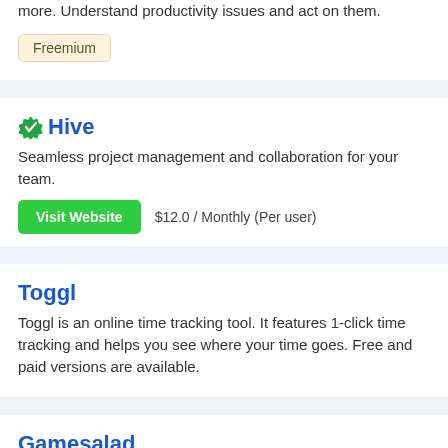more. Understand productivity issues and act on them.
Freemium
Hive
Seamless project management and collaboration for your team.
Visit Website   $12.0 / Monthly (Per user)
Toggl
Toggl is an online time tracking tool. It features 1-click time tracking and helps you see where your time goes. Free and paid versions are available.
Gamesalad
GameSalad is a game development platform for iOS